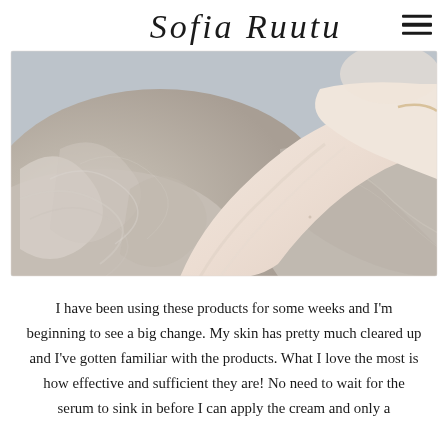Sofia Ruutu
[Figure (photo): Close-up photo of a woman wearing a silky, shimmery light beige/champagne top, her hand raised near her neck/face, showing smooth skin. Soft studio-style lighting with a pale blue-grey background.]
I have been using these products for some weeks and I'm beginning to see a big change. My skin has pretty much cleared up and I've gotten familiar with the products. What I love the most is how effective and sufficient they are! No need to wait for the serum to sink in before I can apply the cream and only a